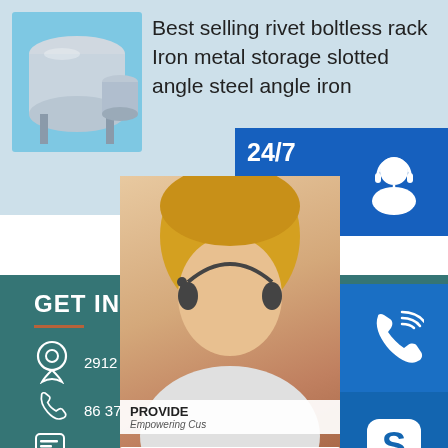[Figure (photo): Industrial metal tank/storage product photo on light blue background]
Best selling rivet boltless rack Iron metal storage slotted angle steel angle iron
[Figure (photo): Customer service representative with headset, 24/7 support overlay with chat and phone icons]
GET IN TOUCH
2912 Carolyns Circle Dallas TX – 7
86 371 86151827 86 371 86011881